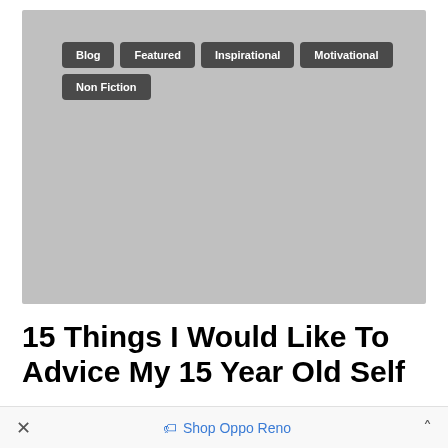[Figure (illustration): Gray placeholder image with category tags overlaid: Blog, Featured, Inspirational, Motivational, Non Fiction]
15 Things I Would Like To Advice My 15 Year Old Self
× Shop Oppo Reno ^